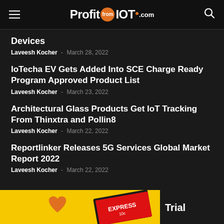ProfitfromIOT.com
Devices
Laveesh Kocher - March 28, 2022
IoTecha EV Gets Added Into SCE Charge Ready Program Approved Product List
Laveesh Kocher - March 23, 2022
Architectural Glass Products Get IoT Tracking From Thinxtra and Pollin8
Laveesh Kocher - March 22, 2022
Reportlinker Releases 5G Services Global Market Report 2022
Laveesh Kocher - March 22, 2022
[Figure (other): Advertisement banner with yellow background, orange heart icon, Express magazine image, and Trial text]